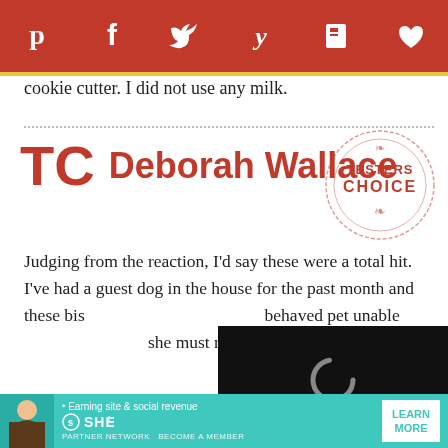[Figure (other): Social media sharing bar with icons for Pinterest, Facebook, Twitter, Yummly, Flipboard, and a heart/save button on red background]
cookie cutter. I did not use any milk.
TC  Deborah Wallace
[Figure (other): Testers Choice circular stamp/seal in light red/pink]
Judging from the reaction, I'd say these were a total hit. I've had a guest dog in the house for the past month and these bis[cuits made even the most well-] behaved pet unable [to resist begging ─ I'd say] she must really, reall[y like them.]
[Figure (other): Video player overlay with loading spinner, progress bar, and controls showing 01:01 timestamp]
The dough comes to[gether well ─ it was very] thick and a little sandy textured. I did need to add a
[Figure (other): SHE Partner Network advertisement banner with avatar, tagline 'Earning site & social revenue', and 'LEARN MORE' button]